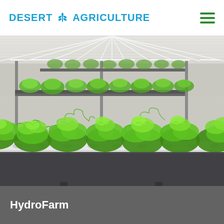DESERT AGRICULTURE
[Figure (photo): Indoor hydroponic vertical farm with rows of bright green lettuce plants growing on white trays under LED grow lights on a multi-tier shelving system]
HydroFarm